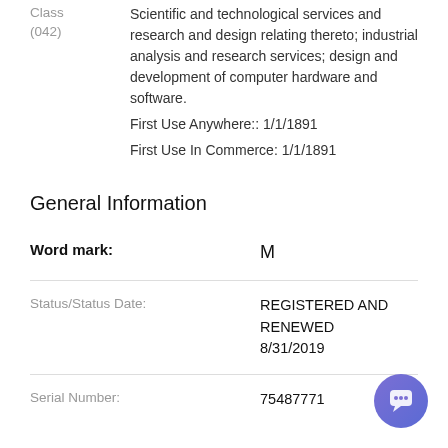Class (042): Scientific and technological services and research and design relating thereto; industrial analysis and research services; design and development of computer hardware and software.
First Use Anywhere:: 1/1/1891
First Use In Commerce: 1/1/1891
General Information
| Field | Value |
| --- | --- |
| Word mark: | M |
| Status/Status Date: | REGISTERED AND RENEWED
8/31/2019 |
| Serial Number: | 75487771 |